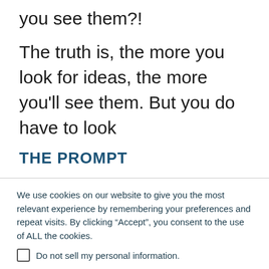you see them?!
The truth is, the more you look for ideas, the more you'll see them. But you do have to look
THE PROMPT
We use cookies on our website to give you the most relevant experience by remembering your preferences and repeat visits. By clicking “Accept”, you consent to the use of ALL the cookies.
Do not sell my personal information.
Cookie Settings   Accept